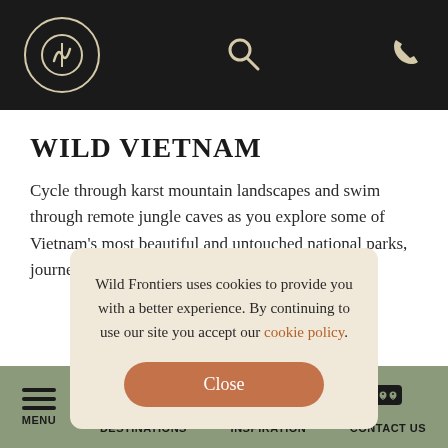Wild Frontiers navigation bar with logo, search, and phone icons
WILD VIETNAM
Cycle through karst mountain landscapes and swim through remote jungle caves as you explore some of Vietnam's most beautiful and untouched national parks, journeying via some
Wild Frontiers uses cookies to provide you with a better experience. By continuing to use our site you accept our cookie policy.
MENU | DESTINATIONS | INSPIRATION | CONTACT US